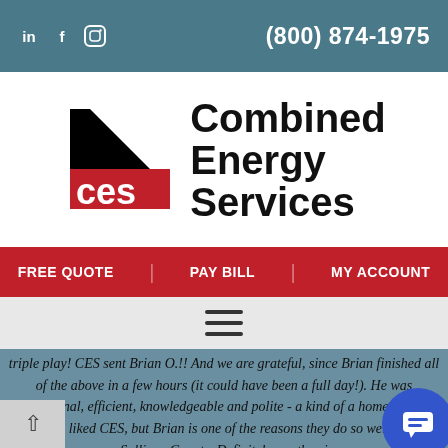in f (instagram) | (800) 874-1975
[Figure (logo): Combined Energy Services logo with black triangle shape, red 'ces' text, and bold black 'Combined Energy Services' wordmark]
FREE QUOTE | PAY BILL | MY ACCOUNT
[Figure (other): Hamburger menu icon (three horizontal lines)]
triple play! CES sent Brian O.!! And we are grateful, since Brian finished all of the above in a few hours (it could have been a full day!). He was professional, efficient, knowledgeable and polite - a kind of a homerun! I've always liked CES, but Brian is one of the reasons they do so well up in Sullivan County. Definitely worth usi